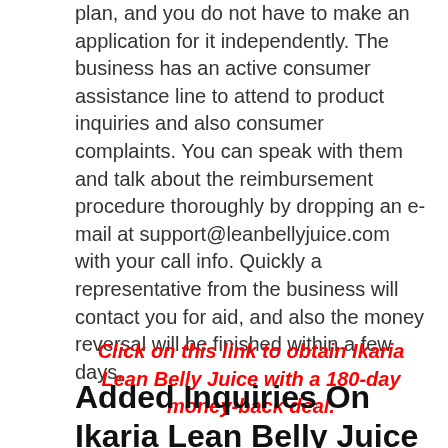plan, and you do not have to make an application for it independently. The business has an active consumer assistance line to attend to product inquiries and also consumer complaints. You can speak with them and talk about the reimbursement procedure thoroughly by dropping an e-mail at support@leanbellyjuice.com with your call info. Quickly a representative from the business will contact you for aid, and also the money reversal will be finished within a few days.
Click on this link to obtain Ikaria Lean Belly Juice with a 180-day money-back deal.
Added Inquiries On Ikaria Lean Belly Juice